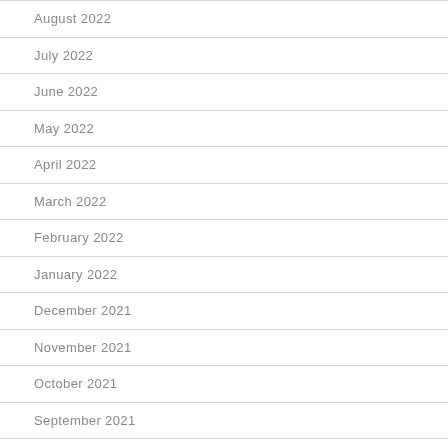August 2022
July 2022
June 2022
May 2022
April 2022
March 2022
February 2022
January 2022
December 2021
November 2021
October 2021
September 2021